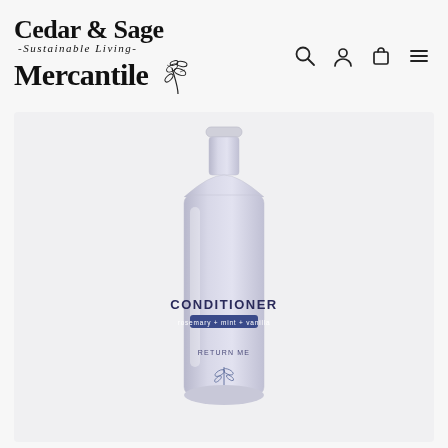Cedar & Sage -Sustainable Living- Mercantile
[Figure (photo): Silver/aluminum conditioner bottle labeled CONDITIONER rosemary + mint + vanilla with RETURN ME text and plant graphic at bottom, photographed on white/light grey background]